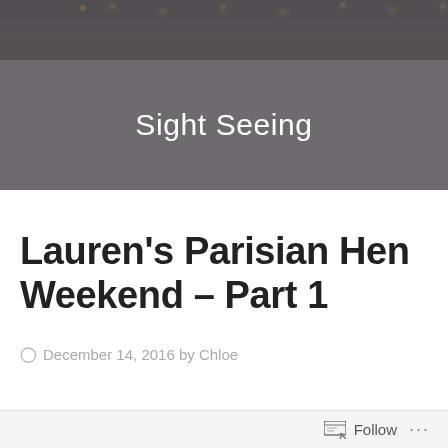[Figure (photo): Dark crowd/event photo at the top of the page, partially visible, with a dark overlay and the text 'Sight Seeing' centered over it]
Sight Seeing
Lauren's Parisian Hen Weekend – Part 1
December 14, 2016 by Chloe